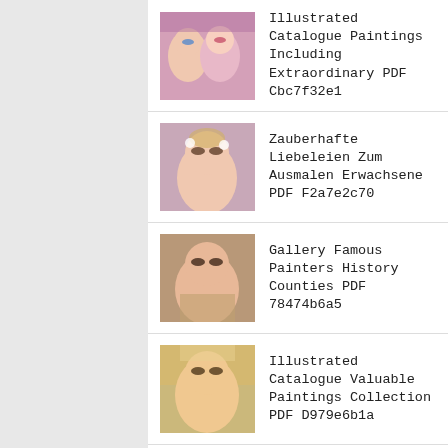Illustrated Catalogue Paintings Including Extraordinary PDF Cbc7f32e1
Zauberhafte Liebeleien Zum Ausmalen Erwachsene PDF F2a7e2c70
Gallery Famous Painters History Counties PDF 78474b6a5
Illustrated Catalogue Valuable Paintings Collection PDF D979e6b1a
Life Michel Angelo Classic Reprint PDF 54ece8ce0
Fiorenzo Lorenzo Kunsthistorische Classic Reprint PDF E05337c18